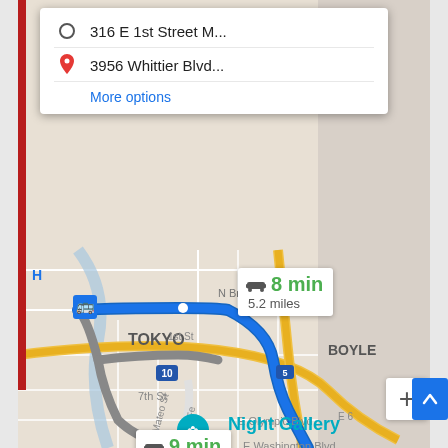[Figure (screenshot): Google Maps screenshot showing directions from 316 E 1st Street M... to 3956 Whittier Blvd... with two route options: 8 min / 5.2 miles and 9 min / 4.7 miles. Map shows Los Angeles area including Tokyo, Boyle Heights, Night Gallery destination, streets including 7th St, E Olympic Blvd, E Washington Blvd, Mateo St, Santa Fe. Blue highlighted route shown on map.]